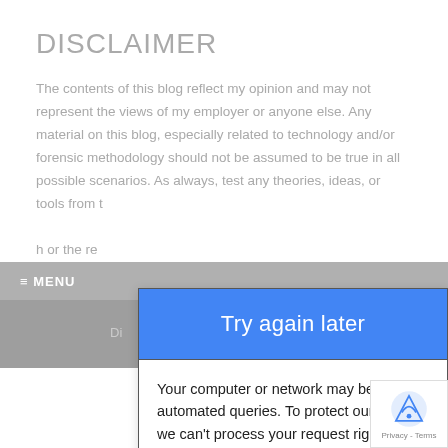DISCLAIMER
The contents of this blog reflect my opinion and may not represent the views of my employer or anyone else.  Any material on this blog, especially related to technology and/or forensic methodology should not be assumed to be true in all possible scenarios.  As always, test any theories, ideas, or tools from t… h or the re…
[Figure (screenshot): A Google reCAPTCHA dialog box overlaying the page. It contains a blue 'Try again later' button at the top, followed by a message box with text 'Your computer or network may be sending automated queries. To protect our users, we can't process your request right now. For more details visit our help page.' with a link. At the bottom are icons (refresh, headphones, info) and a blue VERIFY button. A reCAPTCHA logo appears in the bottom right corner.]